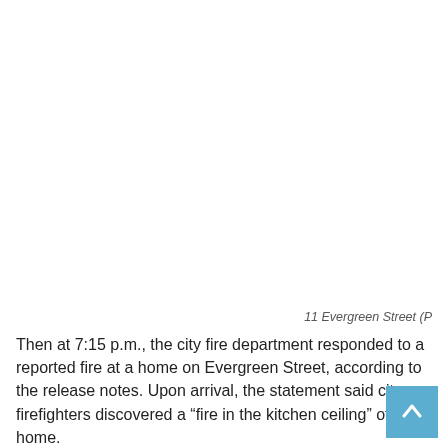11 Evergreen Street (P
Then at 7:15 p.m., the city fire department responded to a reported fire at a home on Evergreen Street, according to the release notes. Upon arrival, the statement said city firefighters discovered a “fire in the kitchen ceiling” of the home.